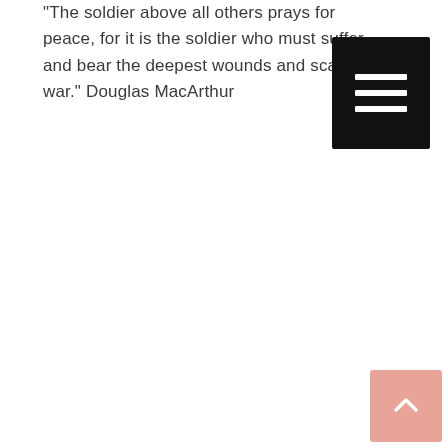"The soldier above all others prays for peace, for it is the soldier who must suffer and bear the deepest wounds and scars of war." Douglas MacArthur
[Figure (other): Black square menu/hamburger button icon with three white horizontal lines]
[Figure (other): Salmon/pink scroll-to-top button with an upward-pointing chevron arrow]